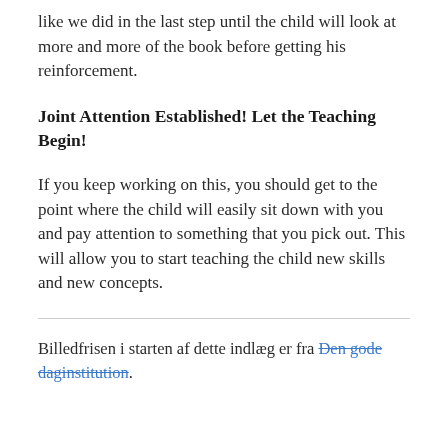like we did in the last step until the child will look at more and more of the book before getting his reinforcement.
Joint Attention Established! Let the Teaching Begin!
If you keep working on this, you should get to the point where the child will easily sit down with you and pay attention to something that you pick out. This will allow you to start teaching the child new skills and new concepts.
Billedfrisen i starten af dette indlæg er fra Den gode daginstitution.